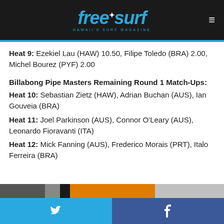freesurf HAWAII'S SURF MAGAZINE
Heat 9: Ezekiel Lau (HAW) 10.50, Filipe Toledo (BRA) 2.00, Michel Bourez (PYF) 2.00
Billabong Pipe Masters Remaining Round 1 Match-Ups:
Heat 10: Sebastian Zietz (HAW), Adrian Buchan (AUS), Ian Gouveia (BRA)
Heat 11: Joel Parkinson (AUS), Connor O'Leary (AUS), Leonardo Fioravanti (ITA)
Heat 12: Mick Fanning (AUS), Frederico Morais (PRT), Italo Ferreira (BRA)
Twitter | Facebook